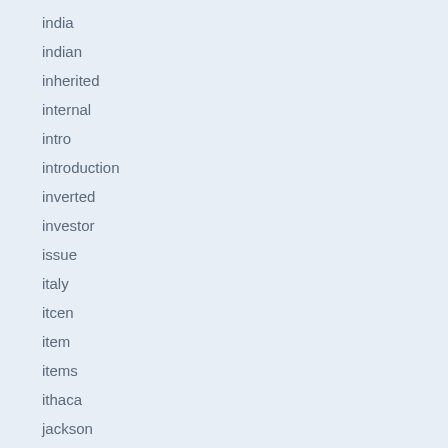india
indian
inherited
internal
intro
introduction
inverted
investor
issue
italy
itcen
item
items
ithaca
jackson
james